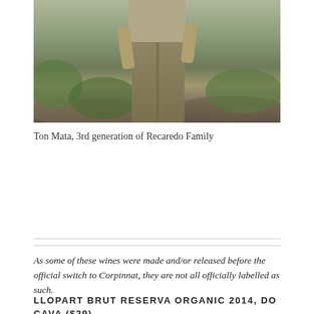[Figure (photo): Photo of Ton Mata, 3rd generation of Recaredo Family, standing in a vineyard wearing khaki trousers]
Ton Mata, 3rd generation of Recaredo Family
As some of these wines were made and/or released before the official switch to Corpinnat, they are not all officially labelled as such.
LLOPART BRUT RESERVA ORGANIC 2014, DO CAVA ($29)